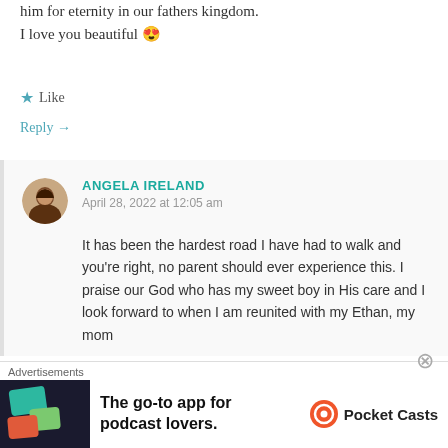him for eternity in our fathers kingdom.
I love you beautiful 😍
★ Like
Reply →
ANGELA IRELAND
April 28, 2022 at 12:05 am
It has been the hardest road I have had to walk and you're right, no parent should ever experience this. I praise our God who has my sweet boy in His care and I look forward to when I am reunited with my Ethan, my mom
Advertisements
[Figure (infographic): Pocket Casts advertisement: 'The go-to app for podcast lovers.' with Pocket Casts logo and colorful app icon]